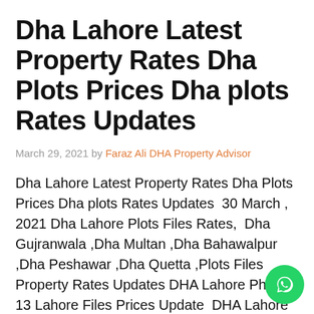Dha Lahore Latest Property Rates Dha Plots Prices Dha plots Rates Updates
March 29, 2021 by Faraz Ali DHA Property Advisor
Dha Lahore Latest Property Rates Dha Plots Prices Dha plots Rates Updates  30 March , 2021 Dha Lahore Plots Files Rates,  Dha Gujranwala ,Dha Multan ,Dha Bahawalpur ,Dha Peshawar ,Dha Quetta ,Plots Files Property Rates Updates DHA Lahore Phase 13 Lahore Files Prices Update  DHA Lahore Phase 13 (5 Marla) (Ex DHA City Lahore) 19 Lacs  Call Dha Lahore ChohanEstate Faraz